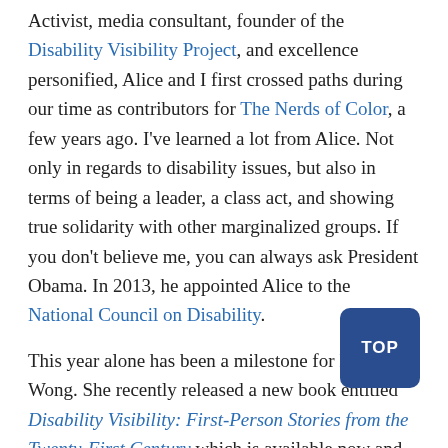Activist, media consultant, founder of the Disability Visibility Project, and excellence personified, Alice and I first crossed paths during our time as contributors for The Nerds of Color, a few years ago. I've learned a lot from Alice. Not only in regards to disability issues, but also in terms of being a leader, a class act, and showing true solidarity with other marginalized groups. If you don't believe me, you can always ask President Obama. In 2013, he appointed Alice to the National Council on Disability.
This year alone has been a milestone for Ms. Wong. She recently released a new book entitled Disability Visibility: First-Person Stories from the Twenty-First Century which is available now and appeared on the cover of British Vogue.
I recently got the opportunity to catch up with Alice and discuss everything ranging from the new book, her podcast, activism, to the power of storytelling.
Upkins: Alice, thank you so much for taking the time to do this interview. For those who are unfamiliar share a bit of